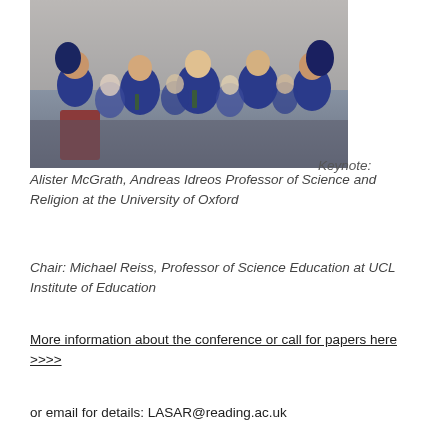[Figure (photo): Group of school students in blue blazers seated, laughing and engaged, at an event or lecture. Two students wearing hijabs are visible on the left and right sides.]
Keynote: Alister McGrath, Andreas Idreos Professor of Science and Religion at the University of Oxford
Chair: Michael Reiss, Professor of Science Education at UCL Institute of Education
More information about the conference or call for papers here >>>>
or email for details: LASAR@reading.ac.uk